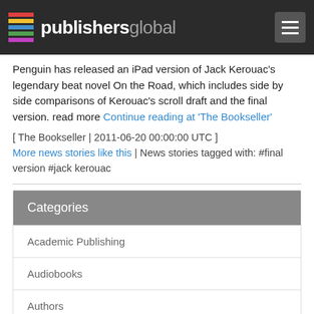publishersglobal
Penguin has released an iPad version of Jack Kerouac's legendary beat novel On the Road, which includes side by side comparisons of Kerouac's scroll draft and the final version. read more Continue reading at 'The Bookseller'
[ The Bookseller | 2011-06-20 00:00:00 UTC ]
More news stories like this | News stories tagged with: #final version #jack kerouac
Categories
Academic Publishing
Audiobooks
Authors